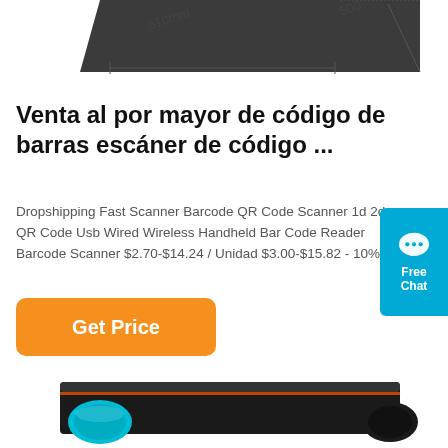[Figure (illustration): Top portion of a drawing tablet product image with dimension annotations showing 510mm and 500mm]
Venta al por mayor de código de barras escáner de código ...
Dropshipping Fast Scanner Barcode QR Code Scanner 1d 2d QR Code Usb Wired Wireless Handheld Bar Code Reader Barcode Scanner $2.70-$14.24 / Unidad $3.00-$15.82 - 10%
[Figure (other): Orange 'Get Price' button]
[Figure (other): Blue 'Free Chat' customer service widget on right edge]
[Figure (photo): Bottom portion of a toner cartridge product image showing black casing with cyan/blue roller]